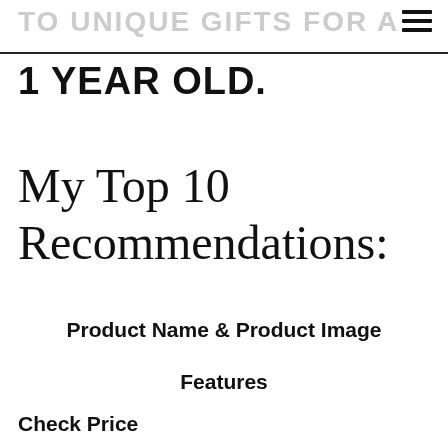TO UNIQUE GIFTS FOR A
1 YEAR OLD.
My Top 10 Recommendations:
Product Name & Product Image
Features
Check Price